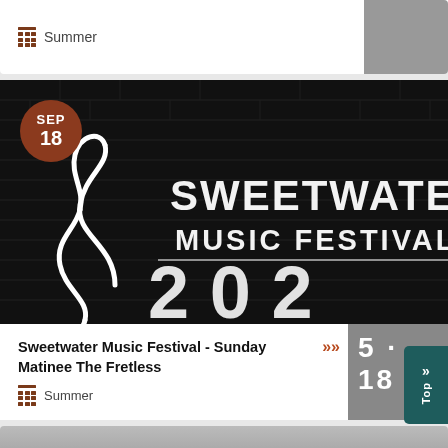Summer
[Figure (photo): Sweetwater Music Festival 2022 sign on dark brick wall with festival logo]
Sweetwater Music Festival - Sunday Matinee The Fretless
Summer
[Figure (photo): Bottom partial card showing a person, partially visible]